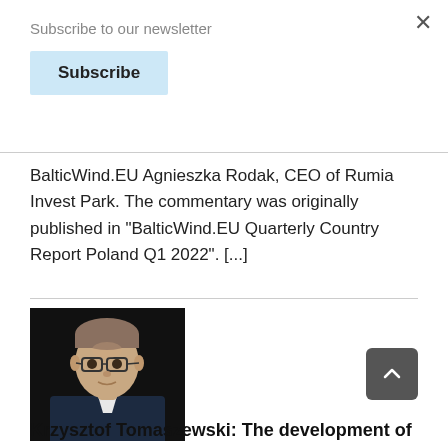Subscribe to our newsletter
Subscribe
BalticWind.EU Agnieszka Rodak, CEO of Rumia Invest Park. The commentary was originally published in "BalticWind.EU Quarterly Country Report Poland Q1 2022". [...]
[Figure (photo): Headshot of a man with glasses wearing a dark suit jacket against a black background]
Krzysztof Tomaszewski: The development of